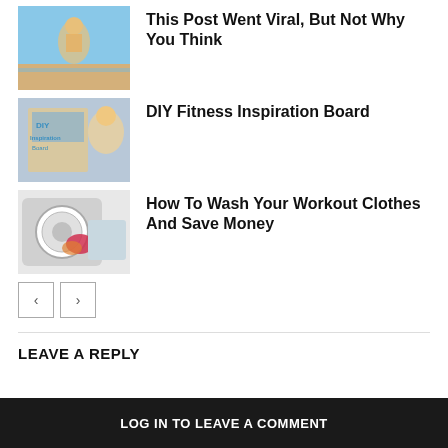[Figure (photo): Beach woman in bikini thumbnail]
This Post Went Viral, But Not Why You Think
[Figure (photo): Woman holding DIY Fitness Inspiration Board thumbnail]
DIY Fitness Inspiration Board
[Figure (photo): Washing machine with colorful workout clothes thumbnail]
How To Wash Your Workout Clothes And Save Money
‹  ›
LEAVE A REPLY
LOG IN TO LEAVE A COMMENT